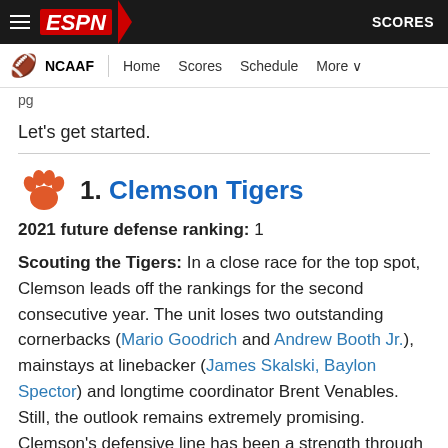ESPN NCAAF | Home Scores Schedule More | SCORES
pg
Let's get started.
1. Clemson Tigers
2021 future defense ranking: 1
Scouting the Tigers: In a close race for the top spot, Clemson leads off the rankings for the second consecutive year. The unit loses two outstanding cornerbacks (Mario Goodrich and Andrew Booth Jr.), mainstays at linebacker (James Skalski, Baylon Spector) and longtime coordinator Brent Venables. Still, the outlook remains extremely promising. Clemson's defensive line has been a strength through the CFP era and will